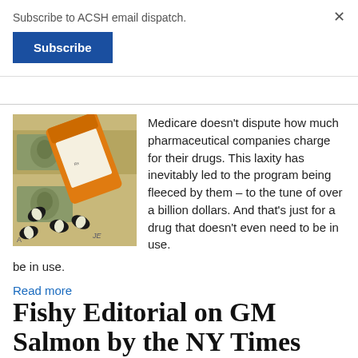Subscribe to ACSH email dispatch.
Subscribe
[Figure (photo): Orange pill bottle spilling black and white capsules onto US dollar bills]
Medicare doesn't dispute how much pharmaceutical companies charge for their drugs. This laxity has inevitably led to the program being fleeced by them – to the tune of over a billion dollars. And that's just for a drug that doesn't even need to be in use.
Read more
Fishy Editorial on GM Salmon by the NY Times